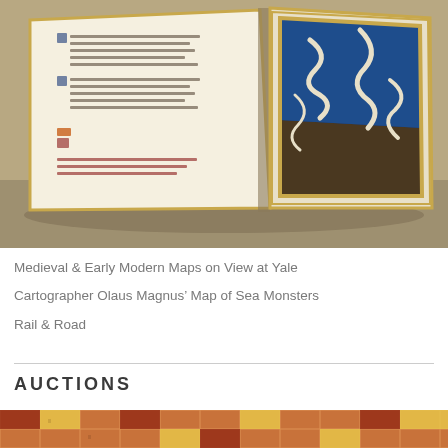[Figure (photo): An open medieval illuminated manuscript displayed on a table. The left page shows handwritten text with small colored initials in blue and red. The right page shows a large illuminated illustration with a dark blue and brown background, white serpentine shapes (possibly eels or sea creatures), framed with a gold and ochre border.]
Medieval & Early Modern Maps on View at Yale
Cartographer Olaus Magnus’ Map of Sea Monsters
Rail & Road
AUCTIONS
[Figure (photo): Bottom partial image showing a colorful medieval-style map or illustration with geometric patterns in terracotta/red and yellow tones.]